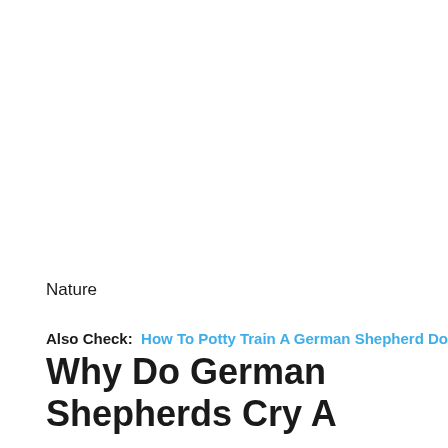Nature
Also Check: How To Potty Train A German Shepherd Dog
Why Do German Shepherds Cry A